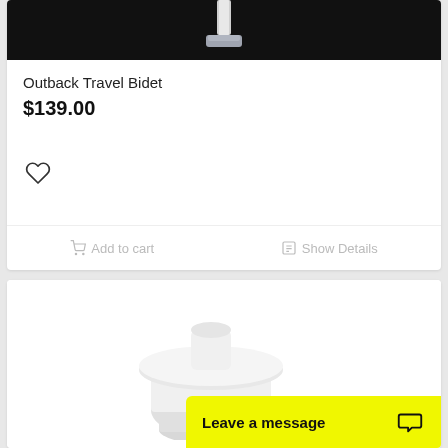[Figure (photo): Close-up photo of white bidet product top against black background]
Outback Travel Bidet
$139.00
[Figure (illustration): Heart/wishlist icon outline]
Add to cart
Show Details
[Figure (photo): White bidet product shown from above on white background]
Leave a message